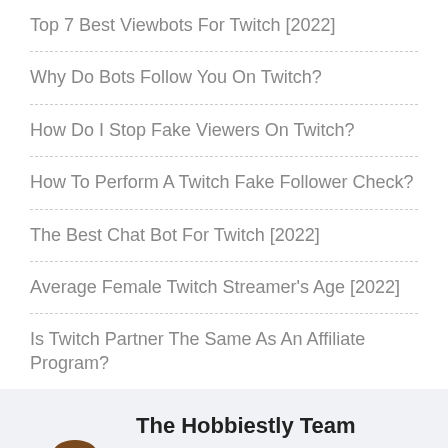Top 7 Best Viewbots For Twitch [2022]
Why Do Bots Follow You On Twitch?
How Do I Stop Fake Viewers On Twitch?
How To Perform A Twitch Fake Follower Check?
The Best Chat Bot For Twitch [2022]
Average Female Twitch Streamer's Age [2022]
Is Twitch Partner The Same As An Affiliate Program?
The Hobbiestly Team
We are a small team of self